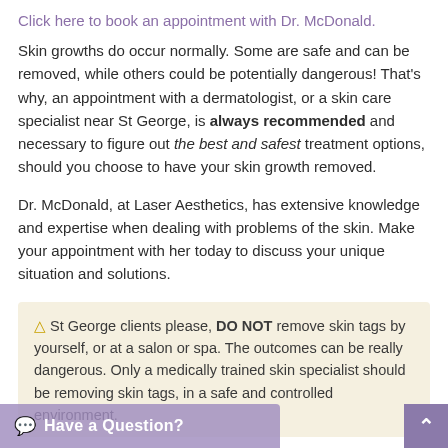Click here to book an appointment with Dr. McDonald.
Skin growths do occur normally. Some are safe and can be removed, while others could be potentially dangerous! That's why, an appointment with a dermatologist, or a skin care specialist near St George, is always recommended and necessary to figure out the best and safest treatment options, should you choose to have your skin growth removed.
Dr. McDonald, at Laser Aesthetics, has extensive knowledge and expertise when dealing with problems of the skin. Make your appointment with her today to discuss your unique situation and solutions.
⚠ St George clients please, DO NOT remove skin tags by yourself, or at a salon or spa. The outcomes can be really dangerous. Only a medically trained skin specialist should be removing skin tags, in a safe and controlled environment.